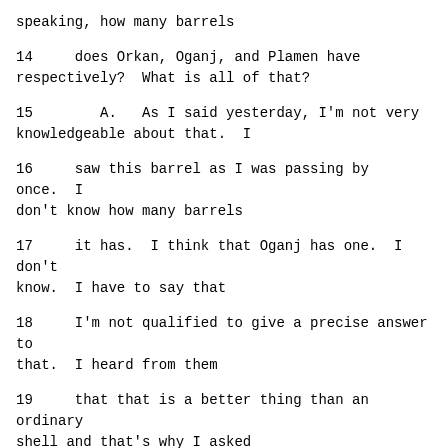speaking, how many barrels
14     does Orkan, Oganj, and Plamen have respectively?  What is all of that?
15        A.   As I said yesterday, I'm not very knowledgeable about that.  I
16     saw this barrel as I was passing by once.  I don't know how many barrels
17     it has.  I think that Oganj has one.  I don't know.  I have to say that
18     I'm not qualified to give a precise answer to that.  I heard from them
19     that that is a better thing than an ordinary shell and that's why I asked